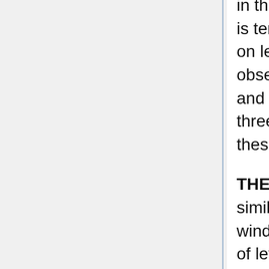in this complex are small. The Square Tower itself is ten stories (levels 1-10) in height (with windows on levels 4-10). On the tenth story there are four observation turrets of one level each (level 11) and a landing. The High Spire continues on for three more stories (levels 11-13). The highest of these levels has a landing.
THE GREAT TOWER: This tower is segmented similar to the Outer Towers. By looking at the windows, one would conclude that total number of levels in this tower would seem to be five. The three lower levels have no windows. The upper two levels, however, are twice as wide as other towers in the Castle. This tower is also covered by a great dome about two stories in height. The windows in the upper two levels are very large and would easily fit a human. Thus, the